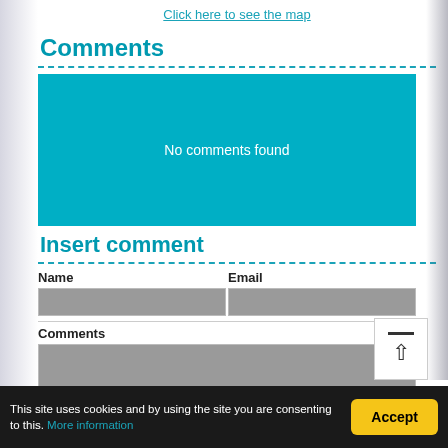Click here to see the map
Comments
[Figure (screenshot): Teal/cyan colored box with text 'No comments found' in white, centered]
Insert comment
| Name | Email |
| --- | --- |
|  |  |
Comments
[Figure (screenshot): Grey textarea input box for comments with a scroll-to-top button (white box with bar and up arrow) overlaid at bottom right]
This site uses cookies and by using the site you are consenting to this. More information